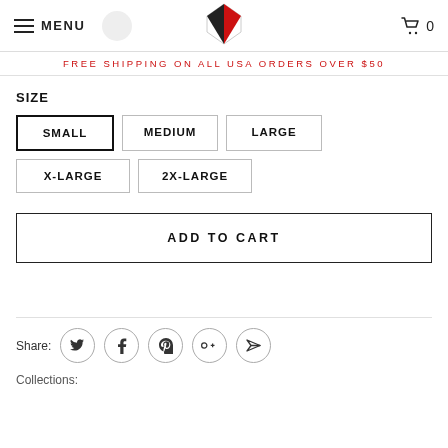MENU | Logo | Cart 0
FREE SHIPPING ON ALL USA ORDERS OVER $50
SIZE
SMALL
MEDIUM
LARGE
X-LARGE
2X-LARGE
ADD TO CART
Share:
Collections: